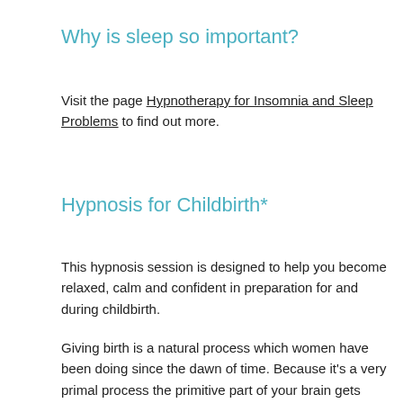Why is sleep so important?
Visit the page Hypnotherapy for Insomnia and Sleep Problems to find out more.
Hypnosis for Childbirth*
This hypnosis session is designed to help you become relaxed, calm and confident in preparation for and during childbirth.
Giving birth is a natural process which women have been doing since the dawn of time. Because it's a very primal process the primitive part of your brain gets involved and scans the environment for threat to check it's safe to give birth. Sometimes this primitive part of the brain can confuse anxiety with threat and this can hinder the birthing